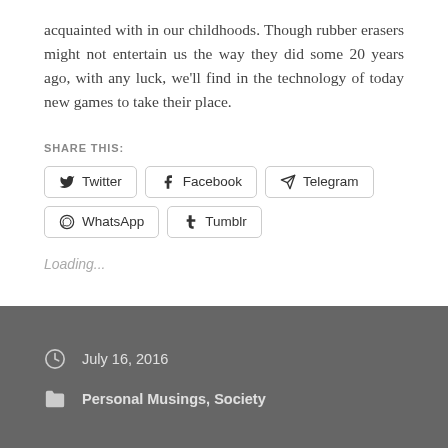acquainted with in our childhoods. Though rubber erasers might not entertain us the way they did some 20 years ago, with any luck, we'll find in the technology of today new games to take their place.
SHARE THIS:
Twitter  Facebook  Telegram  WhatsApp  Tumblr
Loading...
July 16, 2016
Personal Musings, Society